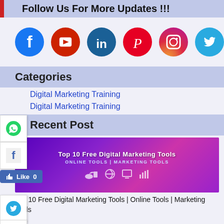Follow Us For More Updates !!!
[Figure (infographic): Row of social media icons: Facebook (blue), YouTube (red), LinkedIn (teal), Pinterest (red), Instagram (gradient), Twitter (blue)]
Categories
Digital Marketing Training
Digital Marketing Training
Recent Post
[Figure (photo): Top 10 Free Digital Marketing Tools | Online Tools | Marketing Tools - purple banner image with digital marketing icons]
Top 10 Free Digital Marketing Tools | Online Tools | Marketing Tools